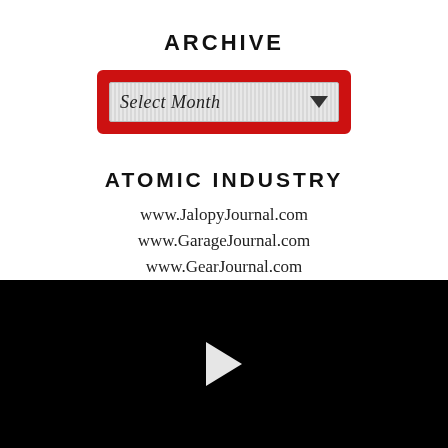ARCHIVE
[Figure (screenshot): A dropdown widget with red border and striped background showing 'Select Month' label with a downward arrow.]
ATOMIC INDUSTRY
www.JalopyJournal.com
www.GarageJournal.com
www.GearJournal.com
www.FordBarn.com
[Figure (screenshot): Black video player area with a white play button triangle in the center.]